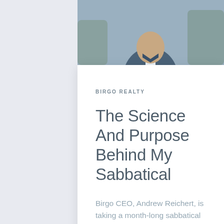[Figure (photo): A man in a blue suit jacket, partially visible from chest up, photographed outdoors with blurred green background. Only the bottom portion of the photo is visible in this cropped view.]
BIRGO REALTY
The Science And Purpose Behind My Sabbatical
Birgo CEO, Andrew Reichert, is taking a month-long sabbatical in August to rest, recharge, spend time with family, and continue to develop a long-term vision for the company.